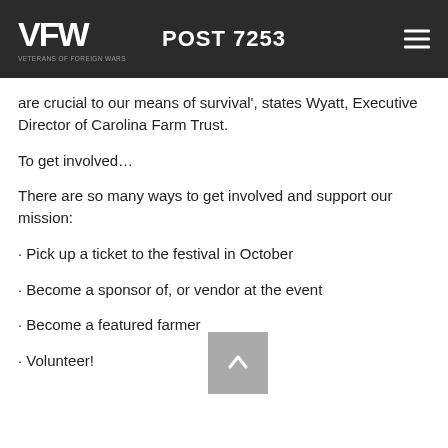VFW POST 7253
are crucial to our means of survival', states Wyatt, Executive Director of Carolina Farm Trust.
To get involved…
There are so many ways to get involved and support our mission:
· Pick up a ticket to the festival in October
· Become a sponsor of, or vendor at the event
· Become a featured farmer
· Volunteer!